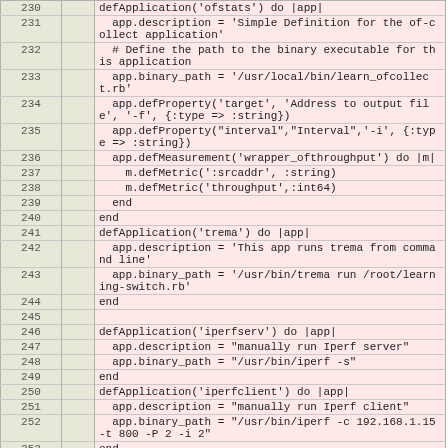| line |  | code |
| --- | --- | --- |
| 230 |  | defApplication('ofstats') do |app| |
| 231 |  |   app.description = 'Simple Definition for the of-collect application' |
| 232 |  |   # Define the path to the binary executable for this application |
| 233 |  |   app.binary_path = '/usr/local/bin/learn_ofcollect.rb' |
| 234 |  |   app.defProperty('target', 'Address to output file', '-f', {:type => :string}) |
| 235 |  |   app.defProperty("interval","Interval",'-i', {:type => :string}) |
| 236 |  |   app.defMeasurement('wrapper_ofthroughput') do |m| |
| 237 |  |     m.defMetric(':srcaddr', :string) |
| 238 |  |     m.defMetric('throughput',:int64) |
| 239 |  |   end |
| 240 |  | end |
| 241 |  | defApplication('trema') do |app| |
| 242 |  |   app.description = 'This app runs trema from command line' |
| 243 |  |   app.binary_path = '/usr/bin/trema run /root/learning-switch.rb' |
| 244 |  | end |
| 245 |  |  |
| 246 |  | defApplication('iperfserv') do |app| |
| 247 |  |   app.description = "manually run Iperf server" |
| 248 |  |   app.binary_path = "/usr/bin/iperf -s" |
| 249 |  | end |
| 250 |  | defApplication('iperfclient') do |app| |
| 251 |  |   app.description = "manually run Iperf client" |
| 252 |  |   app.binary_path = "/usr/bin/iperf -c 192.168.1.15 -t 800 -P 2 -i 2" |
| 253 |  | end |
| 254 |  | ... |